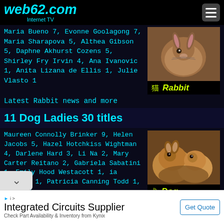web62.com Internet TV
Maria Bueno 7, Evonne Goolagong 7, Maria Sharapova 5, Althea Gibson 5, Daphne Akhurst Cozens 5, Shirley Fry Irvin 4, Ana Ivanovic 1, Anita Lizana de Ellis 1, Julie Vlasto 1
[Figure (photo): Close-up photo of a rabbit with label '猫 Rabbit']
Latest Rabbit news and more
11 Dog Ladies 30 titles
Maureen Connolly Brinker 9, Helen Jacobs 5, Hazel Hotchkiss Wightman 4, Darlene Hard 3, Li Na 2, Mary Carter Reitano 2, Gabriela Sabatini 1, Emily Hood Westacott 1, ia Penetta 1, Patricia Canning Todd 1, Shirley
[Figure (photo): Photo of dogs with label '犬 Dog']
Integrated Circuits Supplier
Check Part Availability & Inventory from Kynix
Get Quote